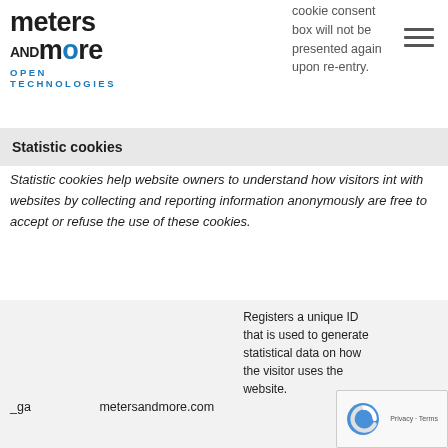[Figure (logo): Meters and More Open Technologies logo with blue 'o' in 'more']
cookie consent box will not be presented again upon re-entry.
Statistic cookies
Statistic cookies help website owners to understand how visitors int with websites by collecting and reporting information anonymously are free to accept or refuse the use of these cookies.
|  |  | Registers a unique ID that is used to generate statistical data on how the visitor uses the website. |  |
| --- | --- | --- | --- |
| _ga | metersandmore.com | Registers a unique ID that is used to generate statistical data on how the visitor uses the website. | HTTP 2 |